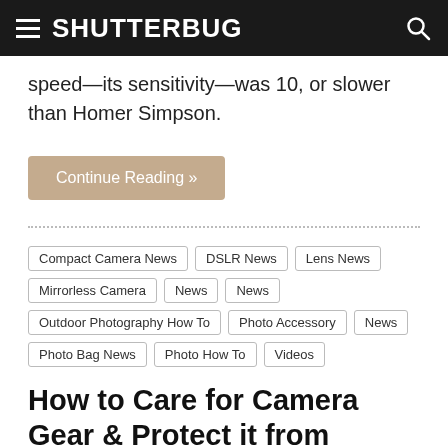SHUTTERBUG
speed—its sensitivity—was 10, or slower than Homer Simpson.
Continue Reading »
Compact Camera News
DSLR News
Lens News
Mirrorless Camera News
News
Outdoor Photography How To
Photo Accessory News
News
Photo Bag News
Photo How To
Videos
How to Care for Camera Gear & Protect it from Damage (VIDEO)